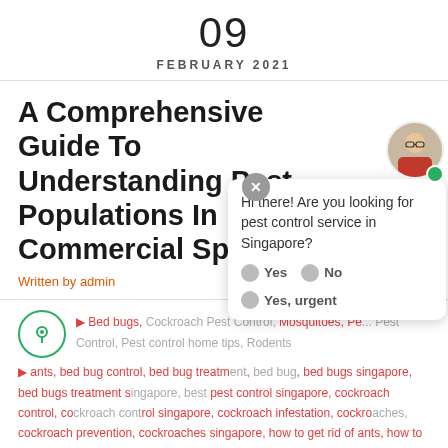09
FEBRUARY 2021
A Comprehensive Guide To Understanding Pest Populations In Commercial Spaces
Written by admin
[Figure (photo): Chat widget with avatar of a person in red shirt, close button, chat bubble saying 'Hi there! Are you looking for pest control service in Singapore?' with Yes, No, Yes urgent response buttons]
Bed bugs, Cockroach Pest Control, Mosquitoes, Pe... Pest Control, Pest control home tips, Rodents
ants, bed bug control, bed bug treatment, bed bug, bed bugs singapore, bed bugs treatment singapore, best pest control singapore, cockroach control, cockroach control singapore, cockroach infestation, cockroaches, cockroach prevention, cockroaches singapore, how to get rid of ants, how to get rid of cockroaches, how to get rid of flies